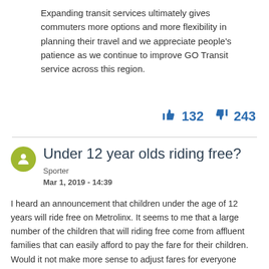Expanding transit services ultimately gives commuters more options and more flexibility in planning their travel and we appreciate people's patience as we continue to improve GO Transit service across this region.
👍 132  👎 243
Under 12 year olds riding free?
Sporter
Mar 1, 2019 - 14:39
I heard an announcement that children under the age of 12 years will ride free on Metrolinx. It seems to me that a large number of the children that will riding free come from affluent families that can easily afford to pay the fare for their children. Would it not make more sense to adjust fares for everyone